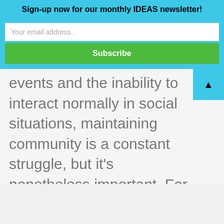Sign-up now for our monthly IDEAS newsletter!
Your email address..
Subscribe
events and the inability to interact normally in social situations, maintaining community is a constant struggle, but it's nonetheless important. For IDEAS, the question is simple: how can we act for the environment as a community despite social distancing restrictions? Perry says that IDEAS is a place where people can come together to share